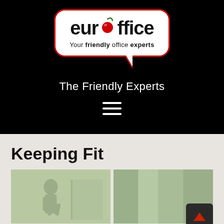[Figure (logo): Euroffice logo in white speech bubble with red border: cherry icon replacing the 'o' in 'euroffice', tagline 'Your friendly office experts', on black background]
The Friendly Experts
[Figure (infographic): Hamburger menu icon (three white horizontal lines) on black background]
Keeping Fit
[Figure (photo): Two side-by-side green-tinted vintage photos related to keeping fit]